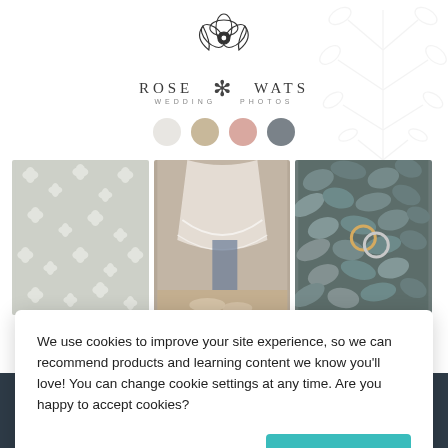[Figure (logo): Rose Wats Wedding Photos logo with a floral sketch above the text]
[Figure (illustration): Four color swatches: light grey, tan/beige, blush pink, and slate grey]
[Figure (photo): Three-photo grid: floral pattern, bride dress/shoes, leaves with rings]
We use cookies to improve your site experience, so we can recommend products and learning content we know you'll love! You can change cookie settings at any time. Are you happy to accept cookies?
Manage Cookie Preferences
Yes I'm Happy